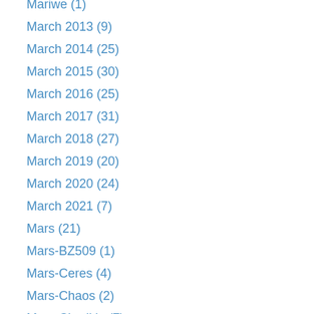Mariwe (1)
March 2013 (9)
March 2014 (25)
March 2015 (30)
March 2016 (25)
March 2017 (31)
March 2018 (27)
March 2019 (20)
March 2020 (24)
March 2021 (7)
Mars (21)
Mars-BZ509 (1)
Mars-Ceres (4)
Mars-Chaos (2)
Mars-Chariklo (7)
Mars-Chiron (3)
Mars-Eris (4)
Mars-Eurydike (4)
Mars-Haumea (2)
Mars-Hylonome (5)